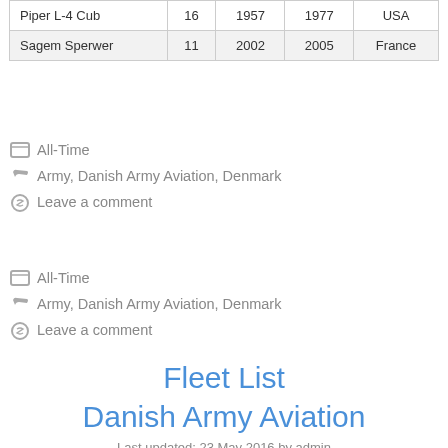| Piper L-4 Cub | 16 | 1957 | 1977 | USA |
| Sagem Sperwer | 11 | 2002 | 2005 | France |
All-Time
Army, Danish Army Aviation, Denmark
Leave a comment
All-Time
Army, Danish Army Aviation, Denmark
Leave a comment
Fleet List
Danish Army Aviation
Last updated: 23 May 2016 by admin